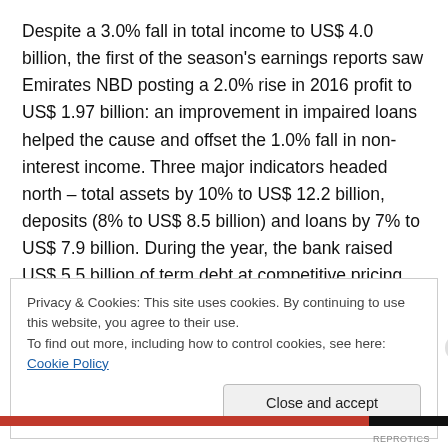Despite a 3.0% fall in total income to US$ 4.0 billion, the first of the season's earnings reports saw Emirates NBD posting a 2.0% rise in 2016 profit to US$ 1.97 billion: an improvement in impaired loans helped the cause and offset the 1.0% fall in non-interest income. Three major indicators headed north – total assets by 10% to US$ 12.2 billion, deposits (8% to US$ 8.5 billion) and loans by 7% to US$ 7.9 billion. During the year, the bank raised US$ 5.5 billion of term debt at competitive pricing. However, Q4 profit fell by 13.1% to US$ 504 million, compared to the
Privacy & Cookies: This site uses cookies. By continuing to use this website, you agree to their use.
To find out more, including how to control cookies, see here: Cookie Policy